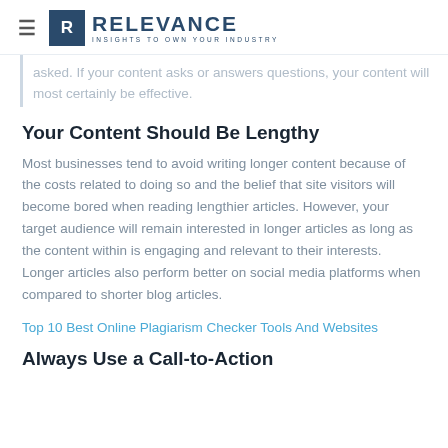RELEVANCE — INSIGHTS TO OWN YOUR INDUSTRY
asked. If your content asks or answers questions, your content will most certainly be effective.
Your Content Should Be Lengthy
Most businesses tend to avoid writing longer content because of the costs related to doing so and the belief that site visitors will become bored when reading lengthier articles. However, your target audience will remain interested in longer articles as long as the content within is engaging and relevant to their interests. Longer articles also perform better on social media platforms when compared to shorter blog articles.
Top 10 Best Online Plagiarism Checker Tools And Websites
Always Use a Call-to-Action